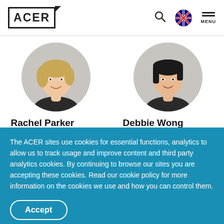ACER — navigation header with logo, search, flag, and menu
[Figure (photo): Circular portrait photo of Rachel Parker, a woman with short blonde hair]
Rachel Parker
Senior Research Fellow
[Figure (photo): Circular portrait photo of Debbie Wong, a woman with short dark hair]
Debbie Wong
Senior Research Fellow
The ACER sites use cookies for essential functions, analytics to allow us to track usage and improve content and third party analytics cookies. By continuing to browse our sites you are accepting these cookies. Read our cookie policy for more information on the cookies we use and how you can control them.